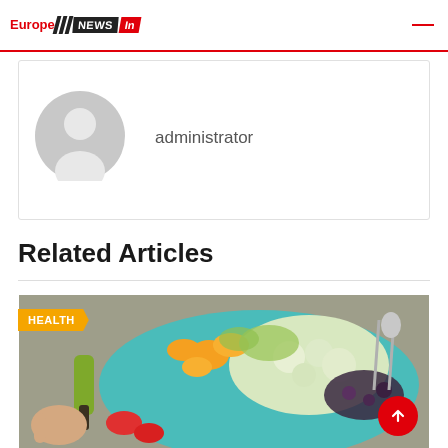Europe NEWS In
[Figure (illustration): Default user avatar silhouette icon in gray circle]
administrator
Related Articles
[Figure (photo): Food article image showing a blue plate with salad, orange slices, cauliflower, strawberries, and a hand pouring olive oil, with a HEALTH badge overlay and a red scroll-to-top button]
HEALTH